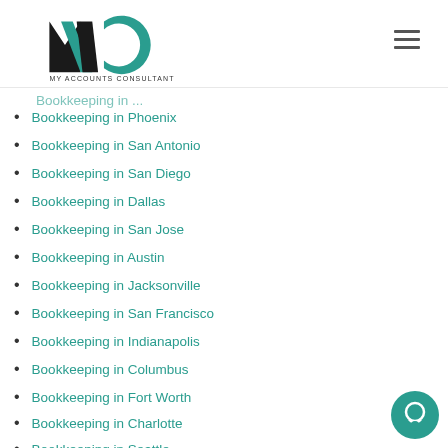My Accounts Consultant - Logo and navigation
Bookkeeping in Phoenix
Bookkeeping in San Antonio
Bookkeeping in San Diego
Bookkeeping in Dallas
Bookkeeping in San Jose
Bookkeeping in Austin
Bookkeeping in Jacksonville
Bookkeeping in San Francisco
Bookkeeping in Indianapolis
Bookkeeping in Columbus
Bookkeeping in Fort Worth
Bookkeeping in Charlotte
Bookkeeping in Seattle